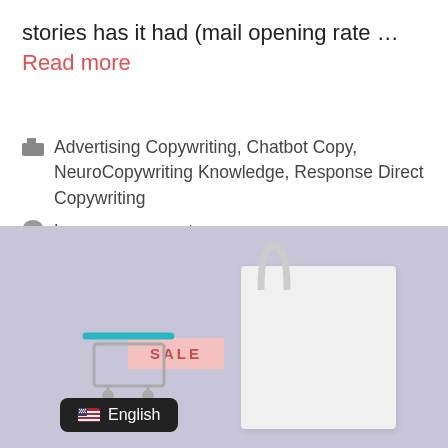stories has it had (mail opening rate … Read more
Advertising Copywriting, Chatbot Copy, NeuroCopywriting Knowledge, Response Direct Copywriting
Leave a comment
[Figure (photo): Photo of a white shopping bag and a mini shopping cart with a pink SALE tag on a lavender background, with an English language badge overlay in the bottom left corner.]